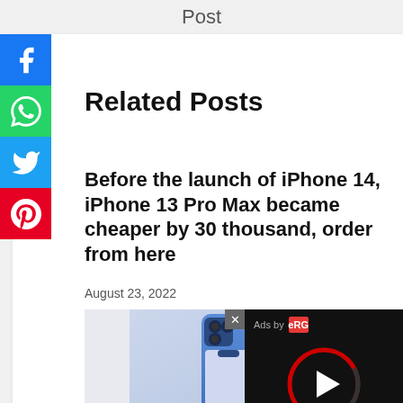Post
Related Posts
Before the launch of iPhone 14, iPhone 13 Pro Max became cheaper by 30 thousand, order from here
August 23, 2022
[Figure (photo): iPhone 13 Pro Max photo with ad overlay showing play button]
Ads by eRG